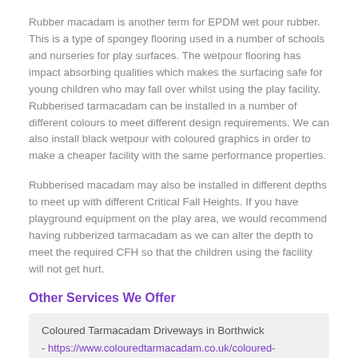Rubber macadam is another term for EPDM wet pour rubber. This is a type of spongey flooring used in a number of schools and nurseries for play surfaces. The wetpour flooring has impact absorbing qualities which makes the surfacing safe for young children who may fall over whilst using the play facility. Rubberised tarmacadam can be installed in a number of different colours to meet different design requirements. We can also install black wetpour with coloured graphics in order to make a cheaper facility with the same performance properties.
Rubberised macadam may also be installed in different depths to meet up with different Critical Fall Heights. If you have playground equipment on the play area, we would recommend having rubberized tarmacadam as we can alter the depth to meet the required CFH so that the children using the facility will not get hurt.
Other Services We Offer
Coloured Tarmacadam Driveways in Borthwick - https://www.colouredtarmacadam.co.uk/coloured-driveways/midlothian/borthwick/